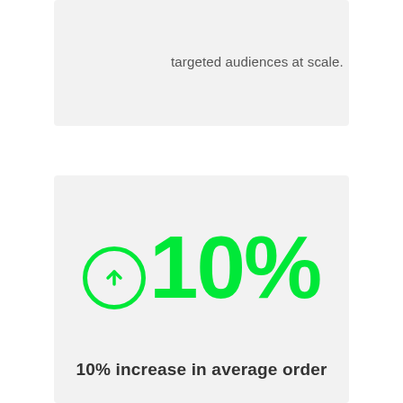targeted audiences at scale.
[Figure (infographic): Large green upward arrow circle icon followed by '10%' in bold green text, indicating a 10% increase statistic]
10% increase in average order